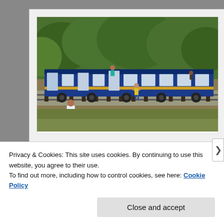[Figure (photo): A blue narrow-gauge tourist train stopped at a station with people standing beside it and on the trackside. Dense green forested hillside in the background. A man in white shirt and dark pants walks in foreground, a child in yellow stands near the train door.]
— A Beautiful thing is it also stops at 4-5 intervals just to
Privacy & Cookies: This site uses cookies. By continuing to use this website, you agree to their use.
To find out more, including how to control cookies, see here: Cookie Policy
Close and accept